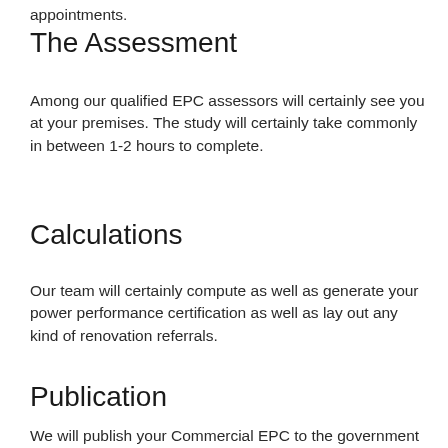appointments.
The Assessment
Among our qualified EPC assessors will certainly see you at your premises. The study will certainly take commonly in between 1-2 hours to complete.
Calculations
Our team will certainly compute as well as generate your power performance certification as well as lay out any kind of renovation referrals.
Publication
We will publish your Commercial EPC to the government register within 24-48 hours of